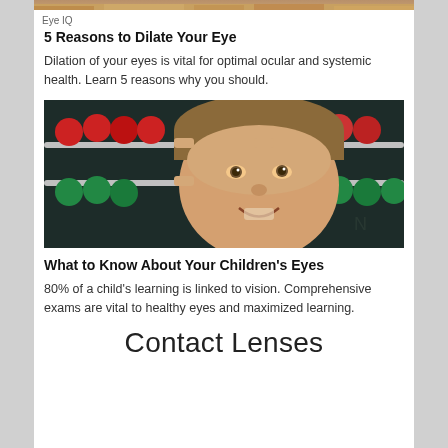[Figure (photo): Close-up photo strip of a person's forehead/hair area, appearing at the very top of the page]
Eye IQ
5 Reasons to Dilate Your Eye
Dilation of your eyes is vital for optimal ocular and systemic health. Learn 5 reasons why you should.
[Figure (photo): Photo of a smiling young girl looking through an abacus with red and green beads against a chalkboard background]
What to Know About Your Children's Eyes
80% of a child's learning is linked to vision. Comprehensive exams are vital to healthy eyes and maximized learning.
Contact Lenses